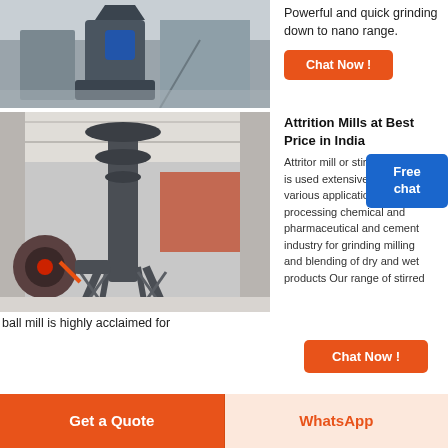[Figure (photo): Industrial grinding mill machine in a facility, viewed from above/side]
Powerful and quick grinding down to nano range.
Chat Now !
[Figure (photo): Attrition mill / stirred ball mill industrial equipment in a large warehouse/factory setting]
Attrition Mills at Best Price in India
Attritor mill or stirred ball mill is used extensively for various applications in processing chemical and pharmaceutical and cement industry for grinding milling and blending of dry and wet products Our range of stirred ball mill is highly acclaimed for
Free chat
Chat Now !
Get a Quote
WhatsApp